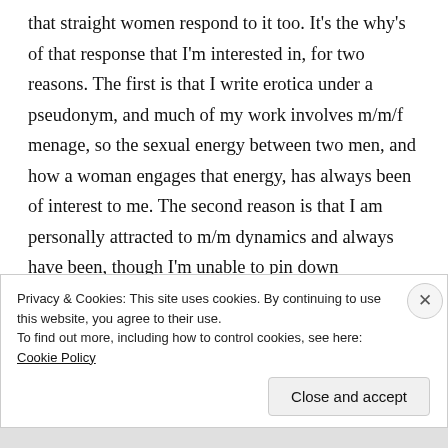that straight women respond to it too. It's the why's of that response that I'm interested in, for two reasons. The first is that I write erotica under a pseudonym, and much of my work involves m/m/f menage, so the sexual energy between two men, and how a woman engages that energy, has always been of interest to me. The second reason is that I am personally attracted to m/m dynamics and always have been, though I'm unable to pin down
Privacy & Cookies: This site uses cookies. By continuing to use this website, you agree to their use.
To find out more, including how to control cookies, see here: Cookie Policy
Close and accept